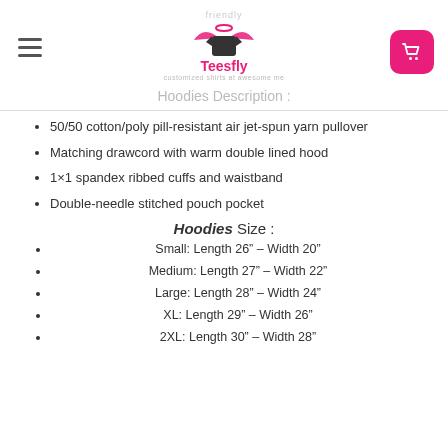friendly Teesfly Hoodies Description :
50/50 cotton/poly pill-resistant air jet-spun yarn pullover
Matching drawcord with warm double lined hood
1×1 spandex ribbed cuffs and waistband
Double-needle stitched pouch pocket
Hoodies Size :
Small: Length 26" – Width 20"
Medium: Length 27" – Width 22"
Large: Length 28" – Width 24"
XL: Length 29" – Width 26"
2XL: Length 30" – Width 28"